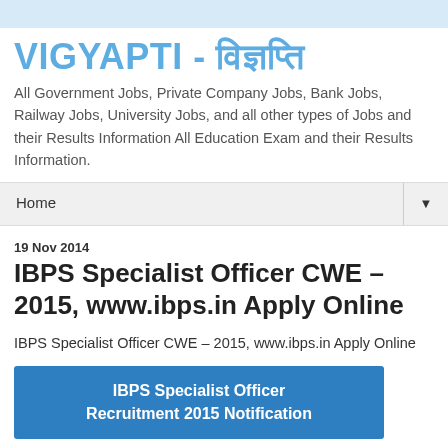VIGYAPTI - विज्ञप्ति
All Government Jobs, Private Company Jobs, Bank Jobs, Railway Jobs, University Jobs, and all other types of Jobs and their Results Information All Education Exam and their Results Information.
Home ▼
19 Nov 2014
IBPS Specialist Officer CWE – 2015, www.ibps.in Apply Online
IBPS Specialist Officer CWE – 2015, www.ibps.in Apply Online
[Figure (infographic): Blue banner with white bold text reading 'IBPS Specialist Officer Recruitment 2015 Notification']